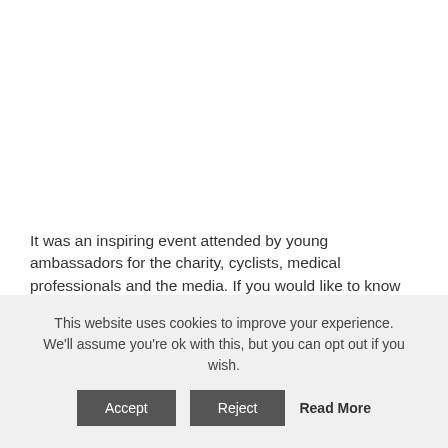It was an inspiring event attended by young ambassadors for the charity, cyclists, medical professionals and the media. If you would like to know more about Little Bleeders, or if you have a little bleeder, check out the website www.littlebleeders.com
Alex was delighted with my photos of the event – read his testimonial here
This website uses cookies to improve your experience. We'll assume you're ok with this, but you can opt out if you wish.